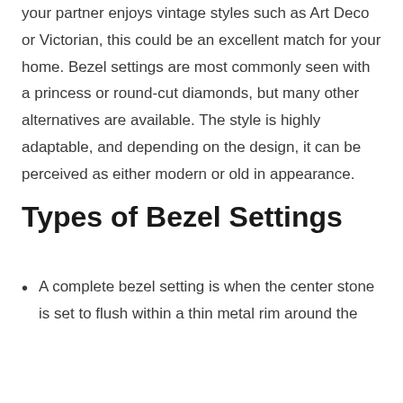your partner enjoys vintage styles such as Art Deco or Victorian, this could be an excellent match for your home. Bezel settings are most commonly seen with a princess or round-cut diamonds, but many other alternatives are available. The style is highly adaptable, and depending on the design, it can be perceived as either modern or old in appearance.
Types of Bezel Settings
A complete bezel setting is when the center stone is set to flush within a thin metal rim around the